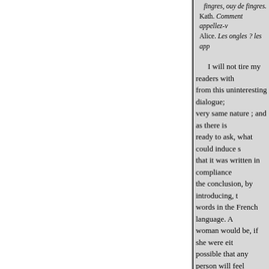fingres, ouy de fingres.
Kath. Comment appellez-vo
Alice. Les ongles ? les appe
I will not tire my readers with from this uninteresting dialogue; very same nature ; and as there is ready to ask, what could induce s that it was written in compliance the conclusion, by introducing, t words in the French language. A woman would be, if she were eit possible that any person will feel of Henry V. is not interrupted in so totally unconnected with ever itself, no reader would be able to excuse, that it introduces to our a excuse is too trifling to be admit
I may next observe, that the so of a similar nature are to be foun cases, the objectionable parts are inclined to suppose, that Shakspe was finished, was compelled, by